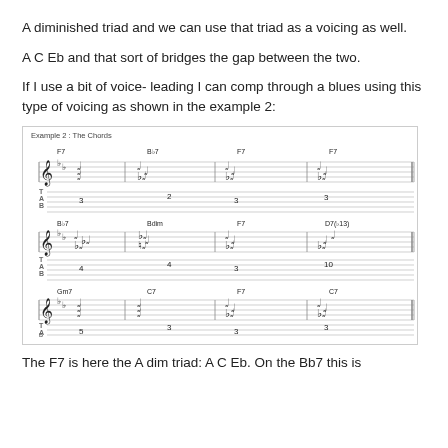A diminished triad and we can use that triad as a voicing as well.
A C Eb and that sort of bridges the gap between the two.
If I use a bit of voice- leading I can comp through a blues using this type of voicing as shown in the example 2:
[Figure (illustration): Music notation example labeled 'Example 2: The Chords' showing three rows of guitar chord diagrams in standard notation and tablature. Row 1: F7, Bb7, F7, F7. Row 2: Bb7, Bdim, F7, D7(b13). Row 3: Gm7, C7, F7, C7.]
The F7 is here the A dim triad: A C Eb. On the Bb7 this is